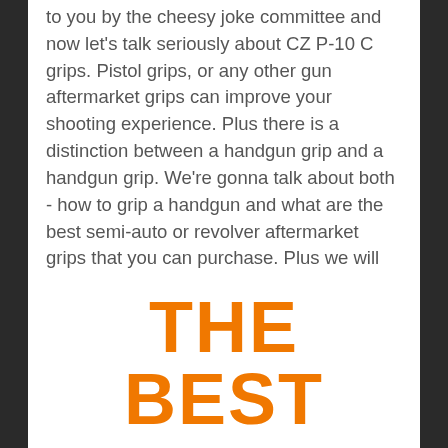to you by the cheesy joke committee and now let's talk seriously about CZ P-10 C grips. Pistol grips, or any other gun aftermarket grips can improve your shooting experience. Plus there is a distinction between a handgun grip and a handgun grip. We're gonna talk about both - how to grip a handgun and what are the best semi-auto or revolver aftermarket grips that you can purchase. Plus we will talk about how aftermarket grips enhance your experience and what are the best materials.
THE BEST HANDGUN